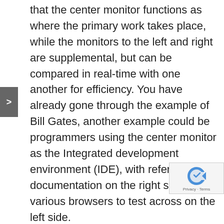that the center monitor functions as where the primary work takes place, while the monitors to the left and right are supplemental, but can be compared in real-time with one another for efficiency. You have already gone through the example of Bill Gates, another example could be programmers using the center monitor as the Integrated development environment (IDE), with reference documentation on the right side and various browsers to test across on the left side.
In fact, the combinations are endless and are only limited to the creativity of the particular user.
A multiple monitor setup will not only help